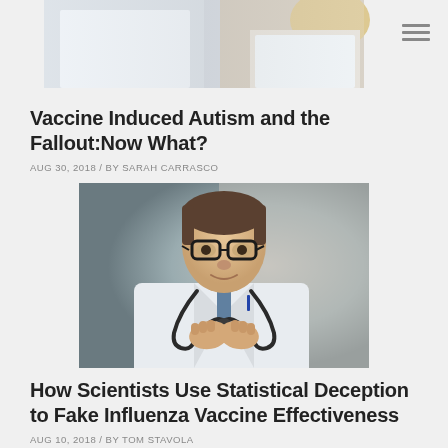[Figure (photo): Partial view of people in white medical coats, cropped at the top of the page]
Vaccine Induced Autism and the Fallout:Now What?
AUG 30, 2018 / BY SARAH CARRASCO
[Figure (photo): A male doctor in a white coat with a stethoscope, wearing glasses, with hands clasped together, smiling slightly, against a gray gradient background]
How Scientists Use Statistical Deception to Fake Influenza Vaccine Effectiveness
AUG 10, 2018 / BY TOM STAVOLA